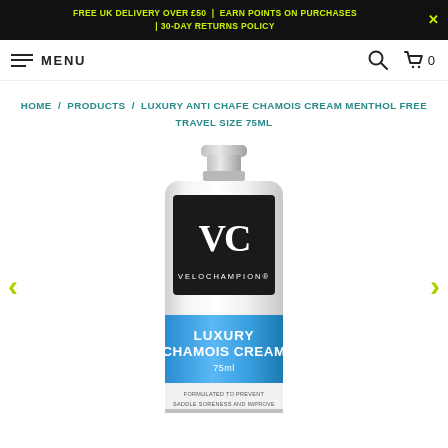FREE UK DELIVERY OVER £50  |  EARN POINTS ON PURCHASES  |  30-DAY RETURNS POLICY
MENU
HOME / PRODUCTS / LUXURY ANTI CHAFE CHAMOIS CREAM MENTHOL FREE TRAVEL SIZE 75ML
[Figure (photo): White squeeze tube of VeloChampion Luxury Chamois Cream 75ml with dark logo panel and blue label band reading 'LUXURY CHAMOIS CREAM 75ml' and text 'FORMULATED TO PREVENT SADDLE SORENESS AND IMPROVE']